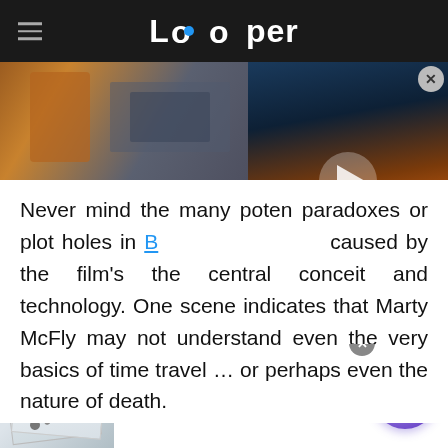Looper
[Figure (screenshot): Movie scene image strip and embedded video player with play button]
Never mind the many potential paradoxes or plot holes in Back to the Future caused by the film's the central conceit and technology. One scene indicates that Marty McFly may not understand even the very basics of time travel ... or perhaps even the nature of death.
[Figure (infographic): Advertisement banner: The #1 Mistake That Makes Bad Knees Worse, n/a, with image of medical/knee item and purple arrow button]